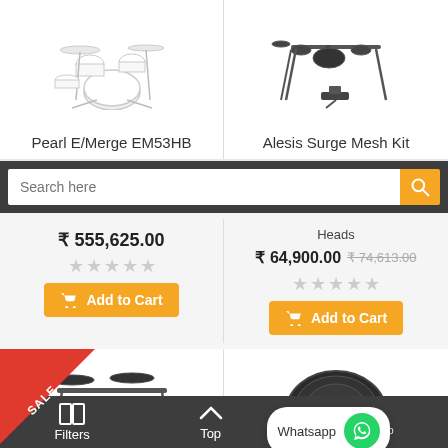[Figure (photo): Pearl E/Merge EM53HB drum kit product image]
[Figure (photo): Alesis Surge Mesh Kit electronic drum kit product image]
Pearl E/Merge EM53HB
Alesis Surge Mesh Kit
Search here
₹ 555,625.00
Heads
₹ 64,900.00
₹ 74,613.00
Add to Cart
Add to Cart
[Figure (photo): Electronic drum kit with SALE badge]
[Figure (photo): Electronic drum module/pad product image]
Whatsapp
Filters  Top  Compare 0